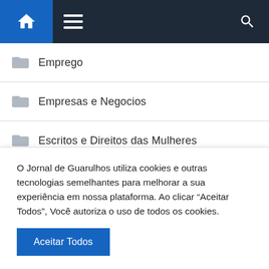Navigation bar with home, menu, and search icons
Emprego
Empresas e Negocios
Escritos e Direitos das Mulheres
Esporte
Fake News
Filmes
O Jornal de Guarulhos utiliza cookies e outras tecnologias semelhantes para melhorar a sua experiência em nossa plataforma. Ao clicar “Aceitar Todos”, Você autoriza o uso de todos os cookies.
Aceitar Todos